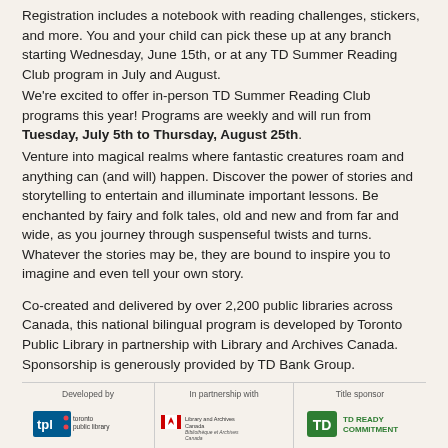Registration includes a notebook with reading challenges, stickers, and more. You and your child can pick these up at any branch starting Wednesday, June 15th, or at any TD Summer Reading Club program in July and August.
We're excited to offer in-person TD Summer Reading Club programs this year! Programs are weekly and will run from Tuesday, July 5th to Thursday, August 25th.
Venture into magical realms where fantastic creatures roam and anything can (and will) happen. Discover the power of stories and storytelling to entertain and illuminate important lessons. Be enchanted by fairy and folk tales, old and new and from far and wide, as you journey through suspenseful twists and turns. Whatever the stories may be, they are bound to inspire you to imagine and even tell your own story.
Co-created and delivered by over 2,200 public libraries across Canada, this national bilingual program is developed by Toronto Public Library in partnership with Library and Archives Canada. Sponsorship is generously provided by TD Bank Group.
[Figure (logo): Three logos side by side: Developed by Toronto Public Library (tpl logo), In partnership with Library and Archives Canada, Title sponsor TD Ready Commitment]
Location: Bowmanville Branch